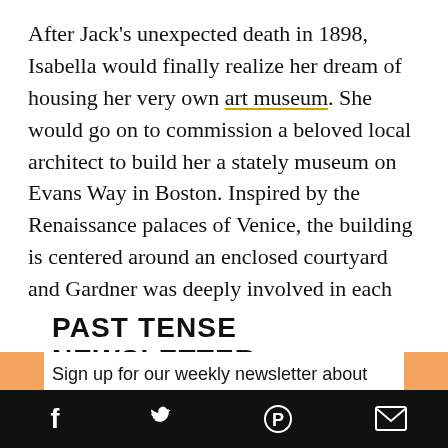After Jack's unexpected death in 1898, Isabella would finally realize her dream of housing her very own art museum. She would go on to commission a beloved local architect to build her a stately museum on Evans Way in Boston. Inspired by the Renaissance palaces of Venice, the building is centered around an enclosed courtyard and Gardner was deeply involved in each aspect of its design.
PAST TENSE NEWSLETTER
Sign up for our weekly newsletter about historical fiction!
Social media icons: Facebook, Twitter, Pinterest, Email